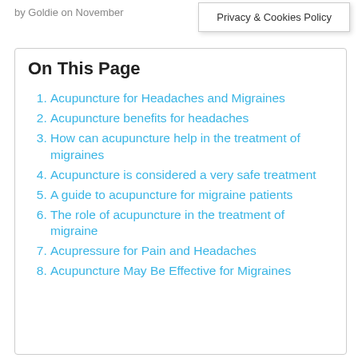by Goldie on November
Privacy & Cookies Policy
On This Page
Acupuncture for Headaches and Migraines
Acupuncture benefits for headaches
How can acupuncture help in the treatment of migraines
Acupuncture is considered a very safe treatment
A guide to acupuncture for migraine patients
The role of acupuncture in the treatment of migraine
Acupressure for Pain and Headaches
Acupuncture May Be Effective for Migraines